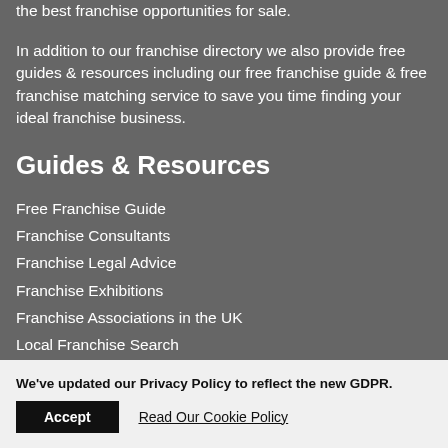the best franchise opportunities for sale.
In addition to our franchise directory we also provide free guides & resources including our free franchise guide & free franchise matching service to save you time finding your ideal franchise business.
Guides & Resources
Free Franchise Guide
Franchise Consultants
Franchise Legal Advice
Franchise Exhibitions
Franchise Associations in the UK
Local Franchise Search
We've updated our Privacy Policy to reflect the new GDPR.
Accept | Read Our Cookie Policy